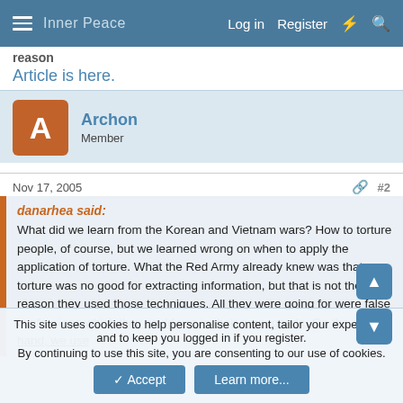Log in  Register
reason
Article is here.
Archon
Member
Nov 17, 2005  #2
danarhea said:
What did we learn from the Korean and Vietnam wars? How to torture people, of course, but we learned wrong on when to apply the application of torture. What the Red Army already knew was that torture was no good for extracting information, but that is not the reason they used those techniques. All they were going for were false confessions which they could use in their propaganda. On the other hand, we use
This site uses cookies to help personalise content, tailor your experience and to keep you logged in if you register.
By continuing to use this site, you are consenting to our use of cookies.